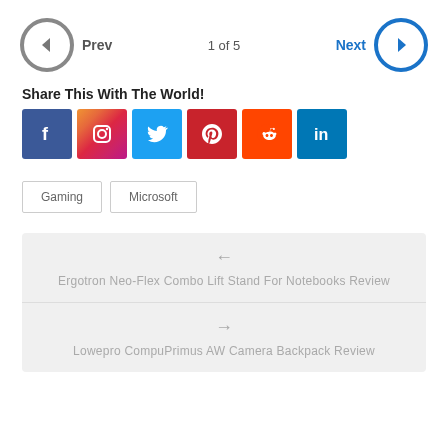Prev   1 of 5   Next
Share This With The World!
[Figure (infographic): Social media share buttons: Facebook, Instagram, Twitter, Pinterest, Reddit, LinkedIn]
Gaming
Microsoft
Ergotron Neo-Flex Combo Lift Stand For Notebooks Review
Lowepro CompuPrimus AW Camera Backpack Review